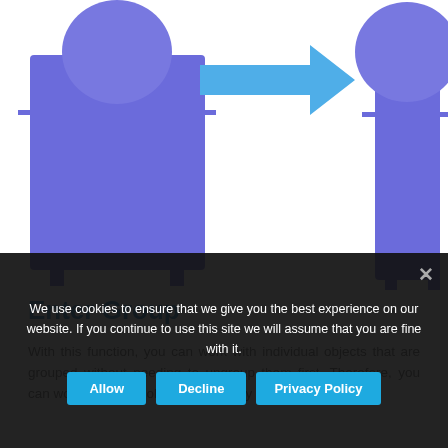[Figure (illustration): Two blue grouped objects (rectangles with a circle on top and legs at bottom) separated by a blue arrow pointing right, showing a before/after of Enter Group function.]
Enter Group
With this function, you can work with individual objects that are grouped without needing to ungroup them first. Therefore, you can work with each object individually without ungrouping.
1. Select a group of objects.
We use cookies to ensure that we give you the best experience on our website. If you continue to use this site we will assume that you are fine with it.